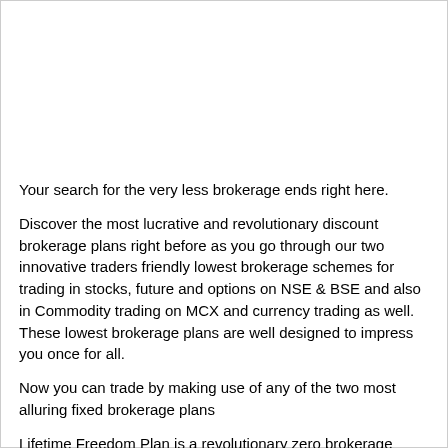Your search for the very less brokerage ends right here.
Discover the most lucrative and revolutionary discount brokerage plans right before as you go through our two innovative traders friendly lowest brokerage schemes for trading in stocks, future and options on NSE & BSE and also in Commodity trading on MCX and currency trading as well. These lowest brokerage plans are well designed to impress you once for all.
Now you can trade by making use of any of the two most alluring fixed brokerage plans
Lifetime Freedom Plan is a revolutionary zero brokerage unlimited trading plan which is first of its kind introduced in India. It is designed to satiate the trading need for traders who trade in low, medium or huge volumes and helps them save brokerage to a great deal. It revolves around the idea of "PAY ONE TIME and